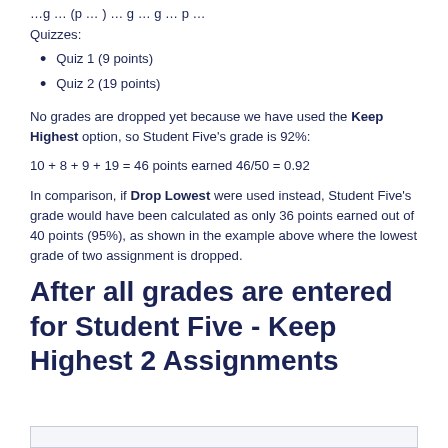Quizzes:
Quiz 1 (9 points)
Quiz 2 (19 points)
No grades are dropped yet because we have used the Keep Highest option, so Student Five's grade is 92%:
In comparison, if Drop Lowest were used instead, Student Five's grade would have been calculated as only 36 points earned out of 40 points (95%), as shown in the example above where the lowest grade of two assignment is dropped.
After all grades are entered for Student Five - Keep Highest 2 Assignments